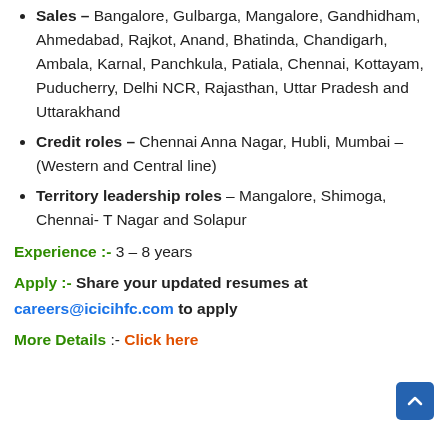Sales – Bangalore, Gulbarga, Mangalore, Gandhidham, Ahmedabad, Rajkot, Anand, Bhatinda, Chandigarh, Ambala, Karnal, Panchkula, Patiala, Chennai, Kottayam, Puducherry, Delhi NCR, Rajasthan, Uttar Pradesh and Uttarakhand
Credit roles – Chennai Anna Nagar, Hubli, Mumbai – (Western and Central line)
Territory leadership roles – Mangalore, Shimoga, Chennai- T Nagar and Solapur
Experience :- 3 – 8 years
Apply :- Share your updated resumes at careers@icicihfc.com to apply
More Details :- Click here